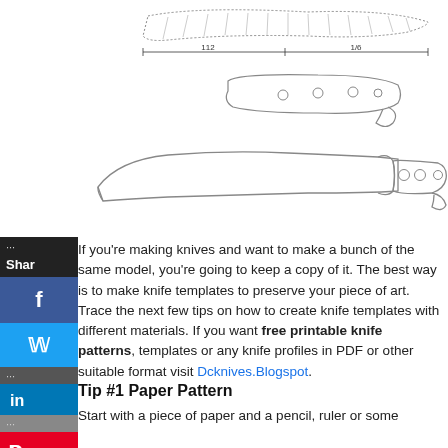[Figure (engineering-diagram): Technical line drawings of knife profiles: top shows a blade with dimension lines labeled '112' and '1/6'; middle shows a knife handle/scales from above; bottom shows a full knife silhouette with handle holes.]
If you're making knives and want to make a bunch of the same model, you're going to keep a copy of it. The best way is to make knife templates to preserve your piece of art. Trace the next few tips on how to create knife templates with different materials. If you want free printable knife patterns, templates or any knife profiles in PDF or other suitable format visit Dcknives.Blogspot.
Tip #1 Paper Pattern
Start with a piece of paper and a pencil, ruler or some